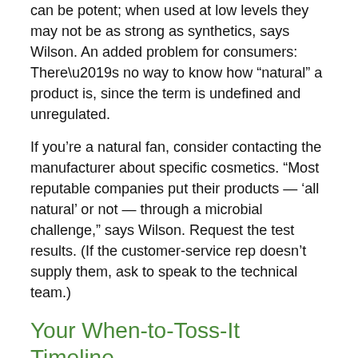can be potent; when used at low levels they may not be as strong as synthetics, says Wilson. An added problem for consumers: There’s no way to know how “natural” a product is, since the term is undefined and unregulated.
If you’re a natural fan, consider contacting the manufacturer about specific cosmetics. “Most reputable companies put their products — ‘all natural’ or not — through a microbial challenge,” says Wilson. Request the test results. (If the customer-service rep doesn’t supply them, ask to speak to the technical team.)
Your When-to-Toss-It Timeline
Every season: Toss your mascara and liquid liner
Every six months: Toss your skin-care regimen, sunscreens, and liquid foundation
Every year: Toss your hair products (except hairspray)
Every two years: Toss your powder-based cosmetics